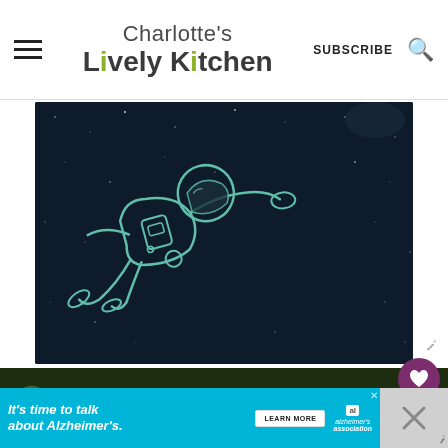Charlotte's Lively Kitchen | SUBSCRIBE
[Figure (illustration): Dark space background with a hand-drawn style astronaut floating in space, depicted in teal/white line art against a dark navy background with star specks]
[Figure (photo): Top-down food photography showing green plants/herbs around a wooden board/plate on a dark surface]
It's time to talk about Alzheimer's.
LEARN MORE